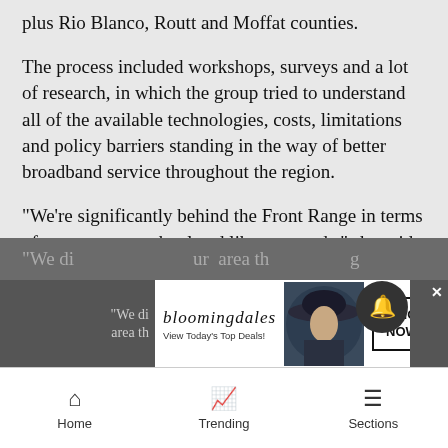plus Rio Blanco, Routt and Moffat counties.
The process included workshops, surveys and a lot of research, in which the group tried to understand all of the available technologies, costs, limitations and policy barriers standing in the way of better broadband service throughout the region.
“We’re significantly behind the Front Range in terms of government, school and library speeds,” she said. “And Colorado as a state is significantly behind about half the other states in the country.”
There were some encouraging surprises found along the way, though, too.
“We di… our area th… g
[Figure (screenshot): Bloomingdale's advertisement banner: logo, 'View Today's Top Deals!' tagline, photo of woman in hat, 'SHOP NOW >' button, with close X button and notification bell overlay]
Home   Trending   Sections